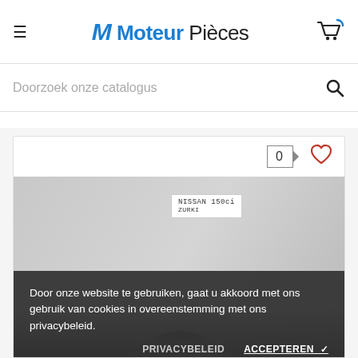M Moteur Pièces
Doorzoek onze catalogus
[Figure (screenshot): Product listing page with wishlist count 0 and heart icon, product image showing a Nissan alternator part with handwritten label]
Door onze website te gebruiken, gaat u akkoord met ons gebruik van cookies in overeenstemming met ons privacybeleid.
PRIVACYBELEID   ACCEPTEREN ✓